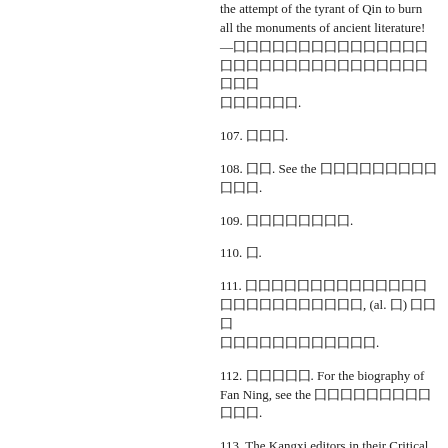the attempt of the tyrant of Qin to burn all the monuments of ancient literature!—[CJK characters].
107. [CJK].
108. [CJK]. See the [CJK characters].
109. [CJK characters].
110. [CJK].
111. [CJK characters], (al. [CJK]) [CJK] [CJK characters].
112. [CJK]. For the biography of Fan Ning, see the [CJK characters].
113. The Kangxi editors in their Critical Introduction, p. 7, quote on this point from Zhu Xi:[CJK characters] [CJK characters].
114. See the [CJK], chh. 147, 156.